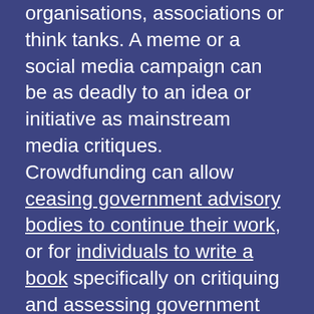organisations, associations or think tanks. A meme or a social media campaign can be as deadly to an idea or initiative as mainstream media critiques. Crowdfunding can allow ceasing government advisory bodies to continue their work, or for individuals to write a book specifically on critiquing and assessing government policy.

The shift to digital is not the only force acting on the agility of the policy development process. Forces such as deregulation, globalisation, and increasing dependencies between...